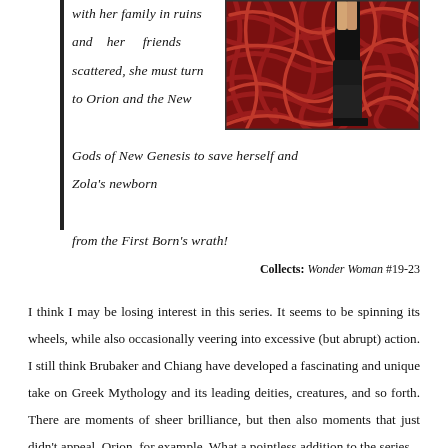with her family in ruins and her friends scattered, she must turn to Orion and the New Gods of New Genesis to save herself and Zola's newborn from the First Born's wrath!
[Figure (illustration): Comic book cover art showing a figure in black boots standing among a dense tangle of red serpentine forms or worms]
Collects: Wonder Woman #19-23
I think I may be losing interest in this series. It seems to be spinning its wheels, while also occasionally veering into excessive (but abrupt) action. I still think Brubaker and Chiang have developed a fascinating and unique take on Greek Mythology and its leading deities, creatures, and so forth. There are moments of sheer brilliance, but then also moments that just didn't appeal. Orion, for example. What a pointless addition to the series.